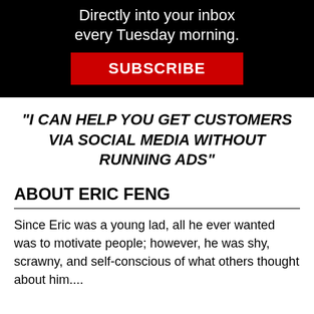[Figure (infographic): Black banner with white text 'Directly into your inbox every Tuesday morning.' and a red SUBSCRIBE button]
"I CAN HELP YOU GET CUSTOMERS VIA SOCIAL MEDIA WITHOUT RUNNING ADS"
ABOUT ERIC FENG
Since Eric was a young lad, all he ever wanted was to motivate people; however, he was shy, scrawny, and self-conscious of what others thought about him....